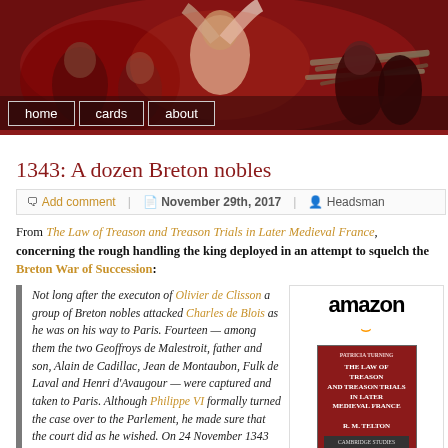[Figure (illustration): Banner image showing a dramatic historical painting of figures in dark reddish tones, possibly depicting an execution or battle scene. Navigation bar at bottom with 'home', 'cards', 'about' buttons.]
1343: A dozen Breton nobles
Add comment | November 29th, 2017 | Headsman
From The Law of Treason and Treason Trials in Later Medieval France, concerning the rough handling the king deployed in an attempt to squelch the Breton War of Succession:
Not long after the executon of Olivier de Clisson a group of Breton nobles attacked Charles de Blois as he was on his way to Paris. Fourteen — among them the two Geoffroys de Malestroit, father and son, Alain de Cadillac, Jean de Montaubon, Fulk de Laval and Henri d'Avaugour — were captured and taken to Paris. Although Philippe VI formally turned the case over to the Parlement, he made sure that the court did as he wished. On 24 November 1343 he advised it that he was sending the prevot of Paris and Jean Richor, maitro do roquetes de
[Figure (illustration): Amazon advertisement showing book cover for 'The Law of Treason and Treason Trials in Later Medieval France' with Amazon logo and arrow]